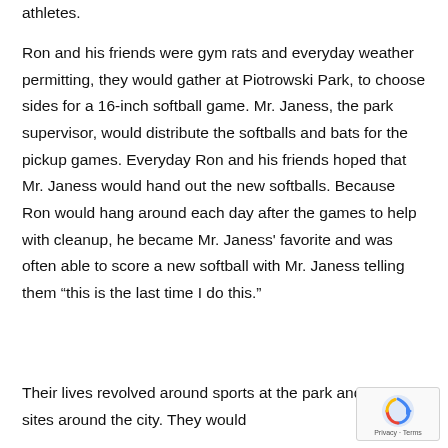athletes.
Ron and his friends were gym rats and everyday weather permitting, they would gather at Piotrowski Park, to choose sides for a 16-inch softball game. Mr. Janess, the park supervisor, would distribute the softballs and bats for the pickup games. Everyday Ron and his friends hoped that Mr. Janess would hand out the new softballs. Because Ron would hang around each day after the games to help with cleanup, he became Mr. Janess' favorite and was often able to score a new softball with Mr. Janess telling them “this is the last time I do this.”
Their lives revolved around sports at the park and at other sites around the city. They would